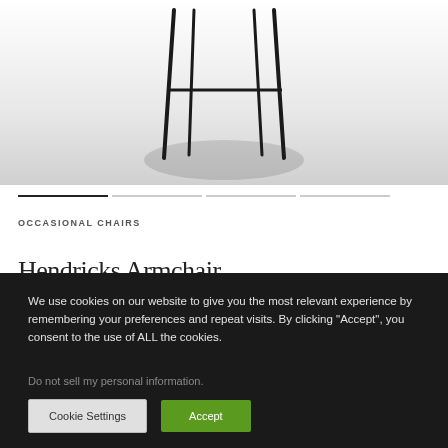[Figure (photo): Bottom portion of a modern black chair with thin metal legs on a white/grey gradient background]
OCCASIONAL CHAIRS
Hendricks Armchair
We use cookies on our website to give you the most relevant experience by remembering your preferences and repeat visits. By clicking "Accept", you consent to the use of ALL the cookies.
Do not sell my personal information.
Cookie Settings | Accept